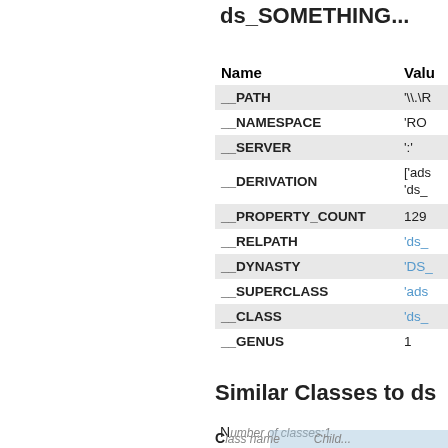ds_SOMETHING...
| Name | Value |
| --- | --- |
| __PATH | '\\\R... |
| __NAMESPACE | 'RO... |
| __SERVER | ':' |
| __DERIVATION | ['ads...
'ds_... |
| __PROPERTY_COUNT | 129 |
| __RELPATH | 'ds_... |
| __DYNASTY | 'DS_... |
| __SUPERCLASS | 'ads... |
| __CLASS | 'ds_... |
| __GENUS | 1 |
Similar Classes to ds...
| N | Class name | Child... |
| --- | --- | --- |
| Number of classes:1 |  |  |